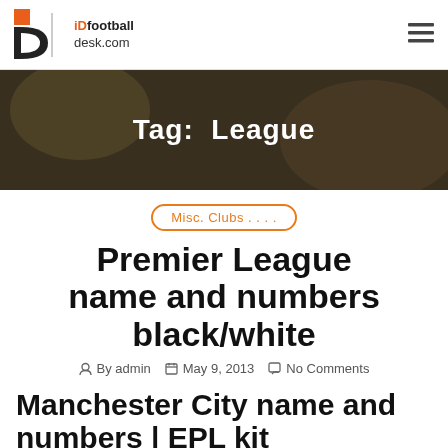iDfootballdesk.com
Tag: League
Misc. Clubs . . . .
Premier League name and numbers black/white
By admin  May 9, 2013  No Comments
Manchester City name and numbers | EPL kit